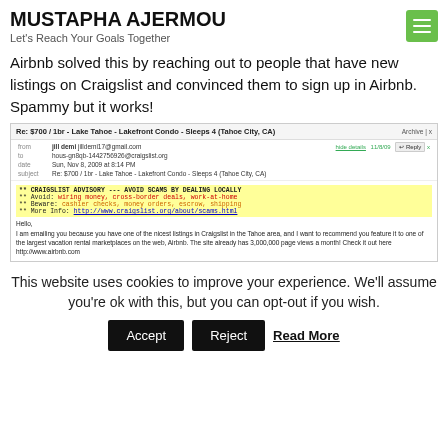MUSTAPHA AJERMOU
Let's Reach Your Goals Together
Airbnb solved this by reaching out to people that have new listings on Craigslist and convinced them to sign up in Airbnb. Spammy but it works!
[Figure (screenshot): Screenshot of an email showing a Craigslist advisory warning about scams, with a message from jill demi promoting Airbnb to a Craigslist host listing a Lake Tahoe lakefront condo.]
This website uses cookies to improve your experience. We'll assume you're ok with this, but you can opt-out if you wish.
Accept   Reject   Read More